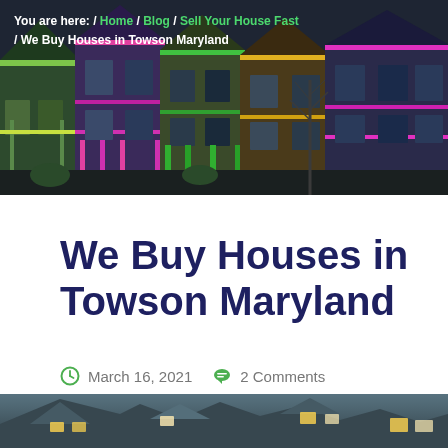[Figure (photo): Hero banner photo of colorful Victorian-style houses on a street, dark/dusk tone with green, pink, yellow painted facades]
You are here: / Home / Blog / Sell Your House Fast / We Buy Houses in Towson Maryland
We Buy Houses in Towson Maryland
March 16, 2021   2 Comments
[Figure (photo): Bottom portion of a photo showing a large Tudor-style house with grey roof and lit windows at dusk]